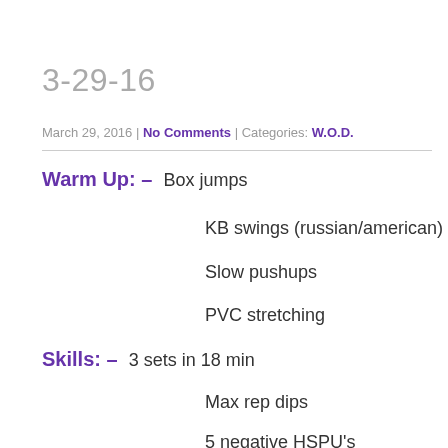3-29-16
March 29, 2016 | No Comments | Categories: W.O.D.
Warm Up: – Box jumps
KB swings (russian/american)
Slow pushups
PVC stretching
Skills: – 3 sets in 18 min
Max rep dips
5 negative HSPU's